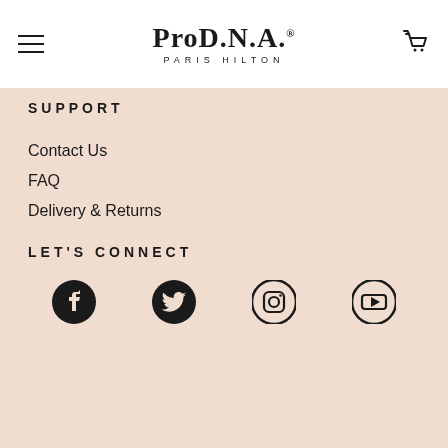ProD.N.A. PARIS HILTON
SUPPORT
Contact Us
FAQ
Delivery & Returns
LET'S CONNECT
[Figure (infographic): Social media icons: Facebook, Twitter, Instagram, YouTube]